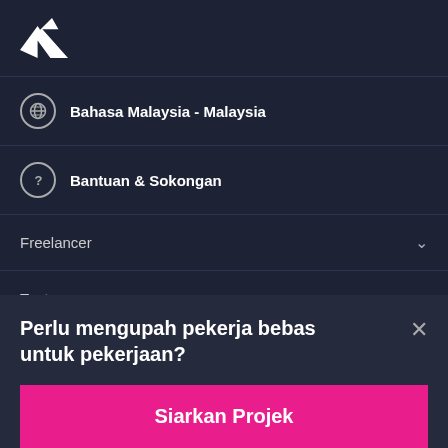[Figure (logo): Freelancer.com bird logo in white on dark background]
Bahasa Malaysia - Malaysia
Bantuan & Sokongan
Freelancer
Tentang
Perlu mengupah pekerja bebas untuk pekerjaan?
Siarkan Projek